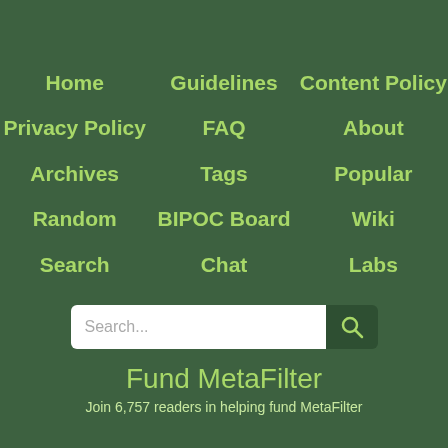Home
Guidelines
Content Policy
Privacy Policy
FAQ
About
Archives
Tags
Popular
Random
BIPOC Board
Wiki
Search
Chat
Labs
Fund MetaFilter
Join 6,757 readers in helping fund MetaFilter